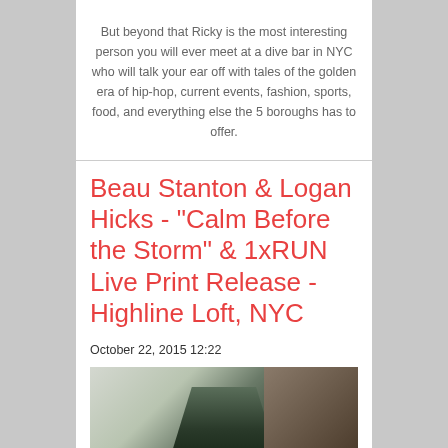But beyond that Ricky is the most interesting person you will ever meet at a dive bar in NYC who will talk your ear off with tales of the golden era of hip-hop, current events, fashion, sports, food, and everything else the 5 boroughs has to offer.
Beau Stanton & Logan Hicks - "Calm Before the Storm" & 1xRUN Live Print Release - Highline Loft, NYC
October 22, 2015 12:22
[Figure (photo): A photo showing artwork or prints, with dark silhouette shapes against lighter background colors of green, tan, and grey tones.]